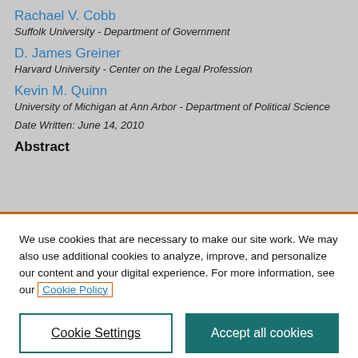Rachael V. Cobb
Suffolk University - Department of Government
D. James Greiner
Harvard University - Center on the Legal Profession
Kevin M. Quinn
University of Michigan at Ann Arbor - Department of Political Science
Date Written: June 14, 2010
Abstract
We use cookies that are necessary to make our site work. We may also use additional cookies to analyze, improve, and personalize our content and your digital experience. For more information, see our Cookie Policy
Cookie Settings
Accept all cookies